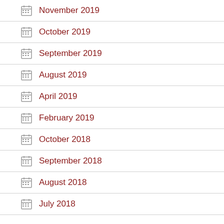November 2019
October 2019
September 2019
August 2019
April 2019
February 2019
October 2018
September 2018
August 2018
July 2018